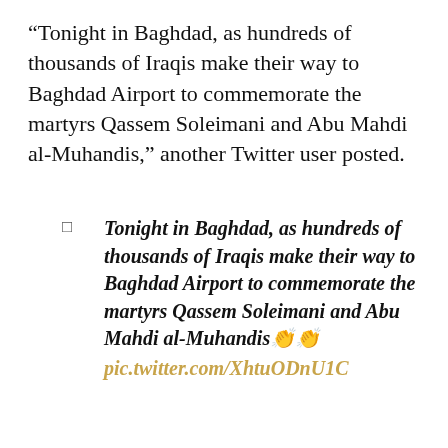“Tonight in Baghdad, as hundreds of thousands of Iraqis make their way to Baghdad Airport to commemorate the martyrs Qassem Soleimani and Abu Mahdi al-Muhandis,” another Twitter user posted.
Tonight in Baghdad, as hundreds of thousands of Iraqis make their way to Baghdad Airport to commemorate the martyrs Qassem Soleimani and Abu Mahdi al-Muhandis 👏👏 pic.twitter.com/XhtuODnU1C